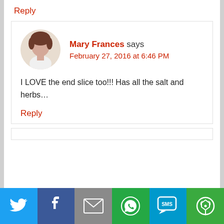Reply
Mary Frances says
February 27, 2016 at 6:46 PM
I LOVE the end slice too!!! Has all the salt and herbs…
Reply
[Figure (infographic): Social share bar with Twitter, Facebook, Email, WhatsApp, SMS, and More buttons]